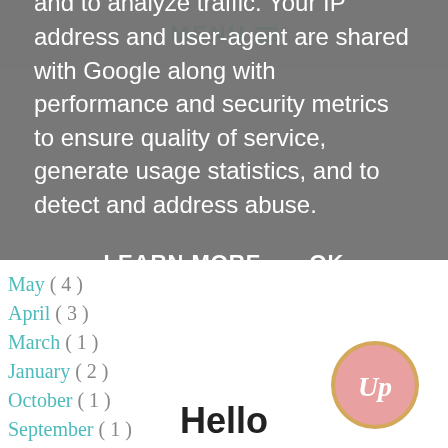MENU
and to analyze traffic. Your IP address and user-agent are shared with Google along with performance and security metrics to ensure quality of service, generate usage statistics, and to detect and address abuse.
LEARN MORE   OK
May (4)
April (3)
March (1)
January (2)
October (1)
September (1)
July (1)
May (2)
April (1)
March (1)
February (2)
[Figure (logo): Round pink/coral logo with white cursive 'Up' initials and gold border]
Hello